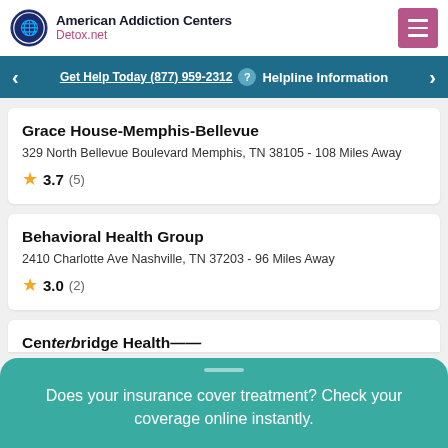American Addiction Centers Detox.net
Get Help Today (877) 959-2312 ? Helpline Information
Grace House-Memphis-Bellevue
329 North Bellevue Boulevard Memphis, TN 38105 - 108 Miles Away
★ 3.7 (5)
Behavioral Health Group
2410 Charlotte Ave Nashville, TN 37203 - 96 Miles Away
★ 3.0 (2)
Does your insurance cover treatment? Check your coverage online instantly.